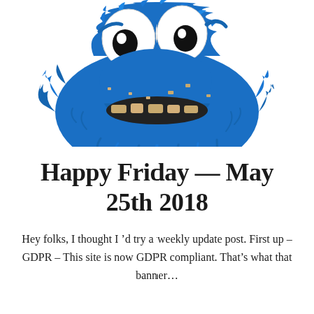[Figure (illustration): Cookie Monster from Sesame Street, a blue furry monster with large googly eyes, holding a cookie and eating it, crumbs visible around its mouth, on a white background.]
Happy Friday — May 25th 2018
Hey folks, I thought I 'd try a weekly update post. First up – GDPR – This site is now GDPR compliant. That's what that banner…